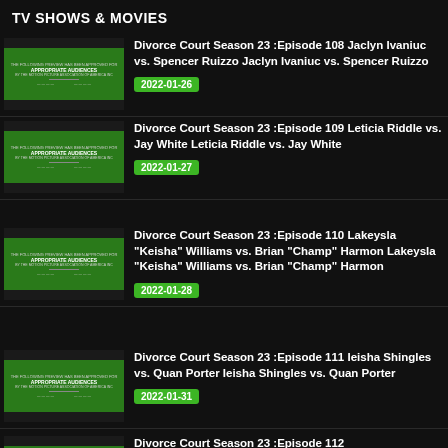TV SHOWS & MOVIES
Divorce Court Season 23 :Episode 108 Jaclyn Ivaniuc vs. Spencer Ruizzo Jaclyn Ivaniuc vs. Spencer Ruizzo 2022-01-26
Divorce Court Season 23 :Episode 109 Leticia Riddle vs. Jay White Leticia Riddle vs. Jay White 2022-01-27
Divorce Court Season 23 :Episode 110 Lakeysla "Keisha" Williams vs. Brian "Champ" Harmon Lakeysla "Keisha" Williams vs. Brian "Champ" Harmon 2022-01-28
Divorce Court Season 23 :Episode 111 Ieisha Shingles vs. Quan Porter Ieisha Shingles vs. Quan Porter 2022-01-31
Divorce Court Season 23 :Episode 112